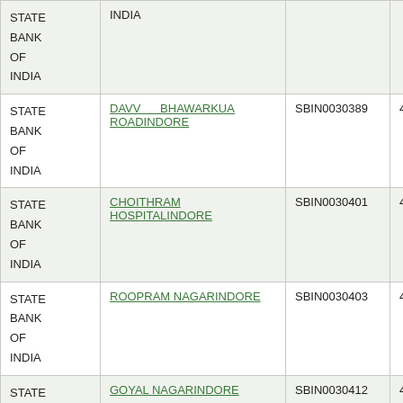| Bank | Branch | IFSC | MICR |
| --- | --- | --- | --- |
| STATE BANK OF INDIA | INDIA |  |  |
| STATE BANK OF INDIA | DAVV BHAWARKUA ROADINDORE | SBIN0030389 | 452005030 |
| STATE BANK OF INDIA | CHOITHRAM HOSPITALINDORE | SBIN0030401 | 452005034 |
| STATE BANK OF INDIA | ROOPRAM NAGARINDORE | SBIN0030403 | 452005044 |
| STATE BANK OF INDIA | GOYAL NAGARINDORE | SBIN0030412 | 452005035 |